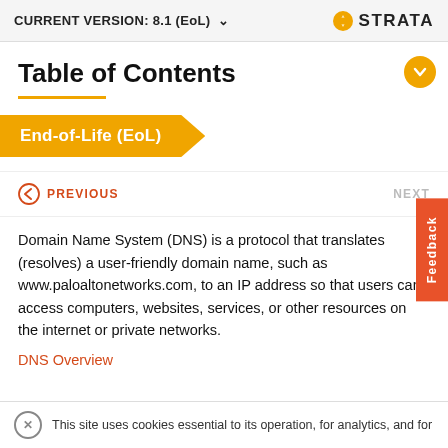CURRENT VERSION: 8.1 (EoL) ∨   ◑ STRATA
Table of Contents
End-of-Life (EoL)
← PREVIOUS   NEXT
Domain Name System (DNS) is a protocol that translates (resolves) a user-friendly domain name, such as www.paloaltonetworks.com, to an IP address so that users can access computers, websites, services, or other resources on the internet or private networks.
DNS Overview
This site uses cookies essential to its operation, for analytics, and for